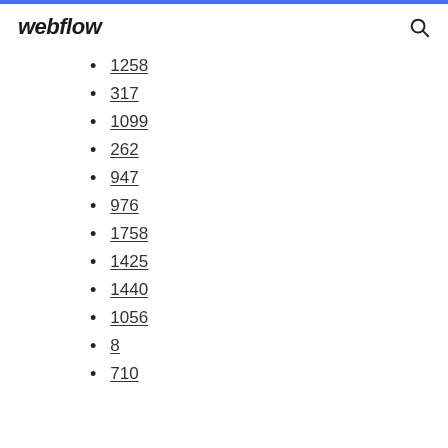webflow
1258
317
1099
262
947
976
1758
1425
1440
1056
8
710